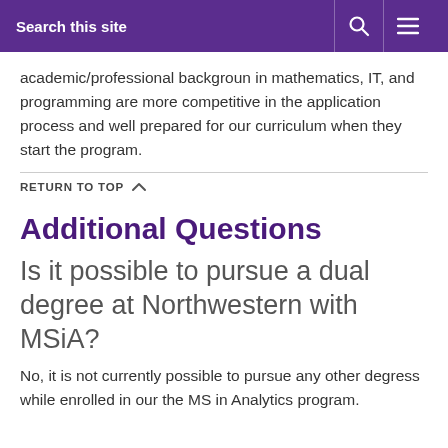Search this site
academic/professional backgroun in mathematics, IT, and programming are more competitive in the application process and well prepared for our curriculum when they start the program.
RETURN TO TOP
Additional Questions
Is it possible to pursue a dual degree at Northwestern with MSiA?
No, it is not currently possible to pursue any other degress while enrolled in our the MS in Analytics program.